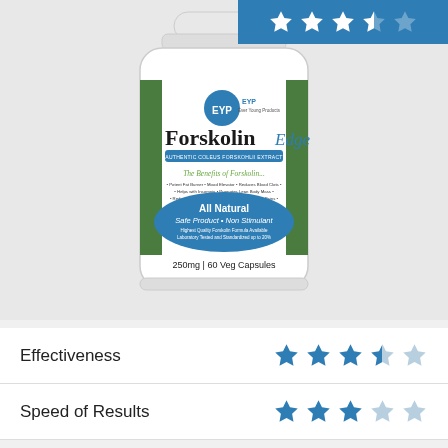[Figure (photo): Bottle of Forskolin Edge supplement by EYP (Ever Young Products). White bottle with blue and green label. '250mg | 60 Veg Capsules'. Shows 'All Natural, Safe Product, Non Stimulant'. Rating bar at top right showing 3.5 stars on blue background.]
Effectiveness
Speed of Results